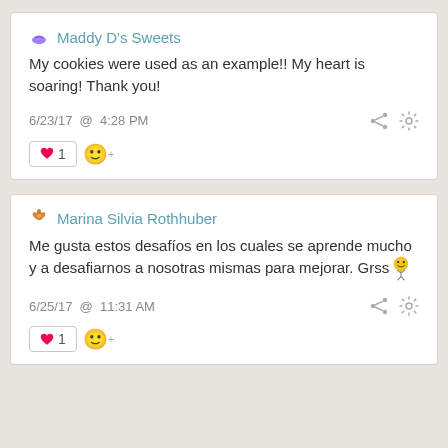Maddy D's Sweets
My cookies were used as an example!! My heart is soaring! Thank you!
6/23/17 @ 4:28 PM
♥ 1
Marina Silvia Rothhuber
Me gusta estos desafíos en los cuales se aprende mucho y a desafiarnos a nosotras mismas para mejorar. Grss 😊
6/25/17 @ 11:31 AM
♥ 1